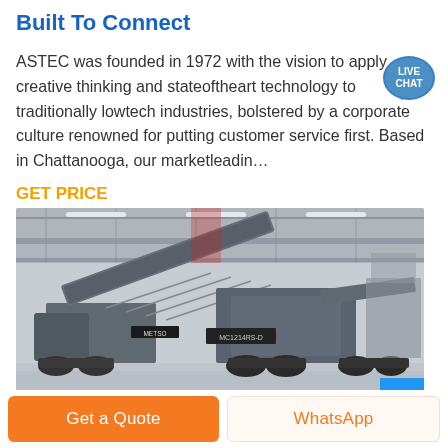Built To Connect
ASTEC was founded in 1972 with the vision to apply creative thinking and stateoftheart technology to traditionally lowtech industries, bolstered by a corporate culture renowned for putting customer service first. Based in Chattanooga, our marketleadin…
GET PRICE
[Figure (photo): Industrial mobile crushing/screening machine parked inside a large warehouse or exhibition hall. The machine has multiple conveyor belts, is mounted on tracks, and appears to be a large-scale aggregate processing unit.]
Get a Quote
WhatsApp